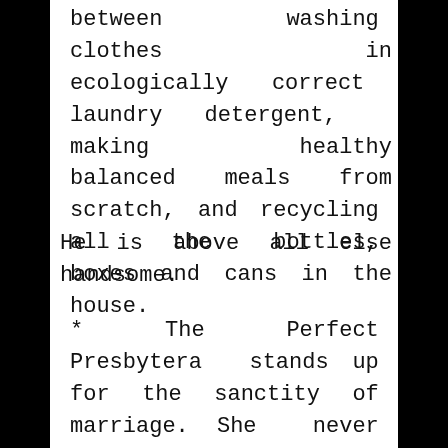between washing clothes in ecologically correct laundry detergent, making healthy balanced meals from scratch, and recycling all the bottles, boxes and cans in the house.
He is above all else handsome.
* The Perfect Presbytera stands up for the sanctity of marriage. She never minds all those females flocking around her handsome husband, or him being home late from church meetings night after night. After all, she too is...